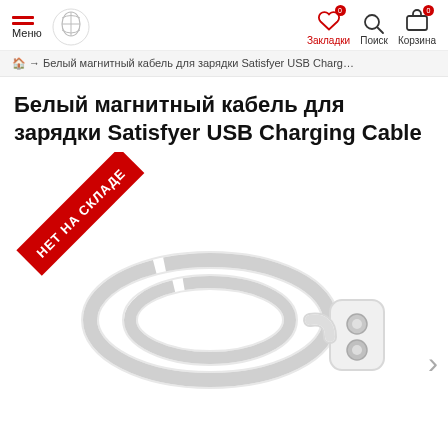Меню | Закладки Поиск Корзина
→ Белый магнитный кабель для зарядки Satisfyer USB Charging Cable
Белый магнитный кабель для зарядки Satisfyer USB Charging Cable
[Figure (photo): White magnetic USB charging cable for Satisfyer with two silver magnetic connector pins, coiled on white background. A red diagonal ribbon badge with text НЕТ НА СКЛАДЕ (Out of stock) is overlaid in the top-left corner.]